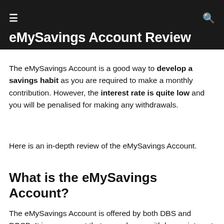eMySavings Account Review
The eMySavings Account is a good way to develop a savings habit as you are required to make a monthly contribution. However, the interest rate is quite low and you will be penalised for making any withdrawals.
Here is an in-depth review of the eMySavings Account.
What is the eMySavings Account?
The eMySavings Account is offered by both DBS and POSB. It is an account that rewards you with bonus interest if you make a monthly contribution